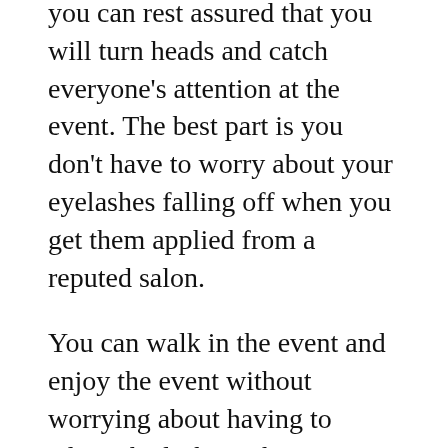you can rest assured that you will turn heads and catch everyone's attention at the event. The best part is you don't have to worry about your eyelashes falling off when you get them applied from a reputed salon.
You can walk in the event and enjoy the event without worrying about having to adjust the lashes. The more confident you are in your looks, the more glamorous you look, and that is precisely what eyelash extensions help you achieve.
HOW DOES FITNESS AFFECT HUMAN HEALTH IN DIFFERENT WAYS? – AMIR ARTICLES